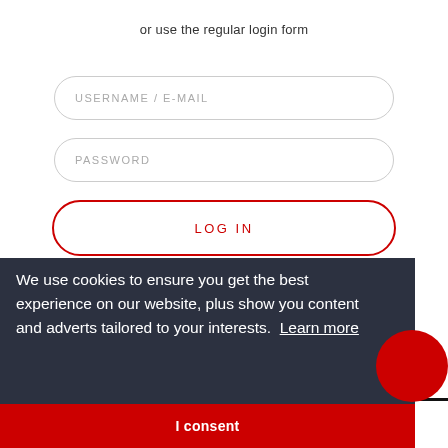or use the regular login form
USERNAME / E-MAIL
PASSWORD
LOG IN
We use cookies to ensure you get the best experience on our website, plus show you content and adverts tailored to your interests. Learn more
I consent